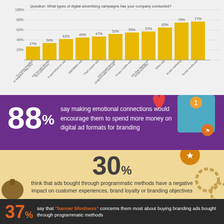[Figure (bar-chart): Question: What types of digital advertising campaigns has your company conducted?]
88% say making emotional connections would encourage them to spend more money on digital ad formats for branding
30% think that ads bought through programmatic methods have a negative impact on customer experiences, brand loyalty or branding objectives
37% say that "banner blindness" concerns them most about buying branding ads bought through programmatic methods